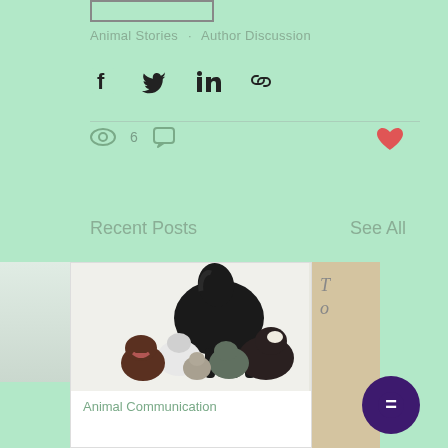[Figure (other): Partial image stub at top, cropped post image placeholder]
Animal Stories · Author Discussion
[Figure (infographic): Social share icons row: Facebook, Twitter, LinkedIn, Link/copy]
[Figure (infographic): Stats row: eye icon with count 6, comment icon, heart/like icon]
Recent Posts
See All
[Figure (photo): Photo card showing group of animals: horse, dog, sheep, cat, puppies]
Animal Communication
[Figure (other): Purple circle chat/message button at bottom right]